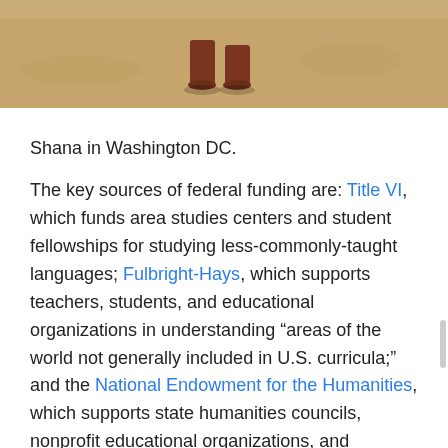[Figure (photo): Cropped photo showing the lower legs and boots of a person standing on sandy/gravelly ground. Only the boots and ground are visible, suggesting the person is Shana in Washington DC.]
Shana in Washington DC.
The key sources of federal funding are: Title VI, which funds area studies centers and student fellowships for studying less-commonly-taught languages; Fulbright-Hays, which supports teachers, students, and educational organizations in understanding “areas of the world not generally included in U.S. curricula;” and the National Endowment for the Humanities, which supports state humanities councils, nonprofit educational organizations, and individual scholars. In recent years, these